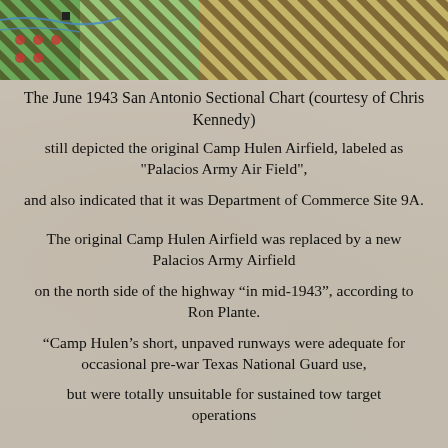[Figure (map): Aerial/sectional map background showing terrain with diagonal stripe pattern at top, military camp area visible below]
The June 1943 San Antonio Sectional Chart (courtesy of Chris Kennedy)
still depicted the original Camp Hulen Airfield, labeled as "Palacios Army Air Field",
and also indicated that it was Department of Commerce Site 9A.
The original Camp Hulen Airfield was replaced by a new Palacios Army Airfield
on the north side of the highway “in mid-1943”, according to Ron Plante.
“Camp Hulen’s short, unpaved runways were adequate for occasional pre-war Texas National Guard use,
but were totally unsuitable for sustained tow target operations